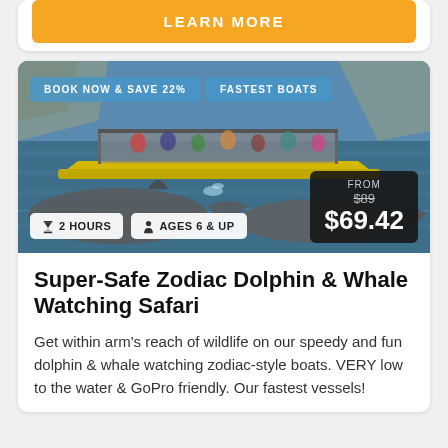[Figure (other): Orange 'LEARN MORE' button at top of card]
[Figure (photo): Photo of a yellow zodiac boat with tourists watching gray whales surfacing in blue ocean water near rocky coastline. Overlaid badges: 'BOOK NOW & SAVE 22%', 'FASTEST BOATS', '2 HOURS', 'AGES 6 & UP', and a price box showing FROM $89 $69.42]
Super-Safe Zodiac Dolphin & Whale Watching Safari
Get within arm's reach of wildlife on our speedy and fun dolphin & whale watching zodiac-style boats. VERY low to the water & GoPro friendly. Our fastest vessels!